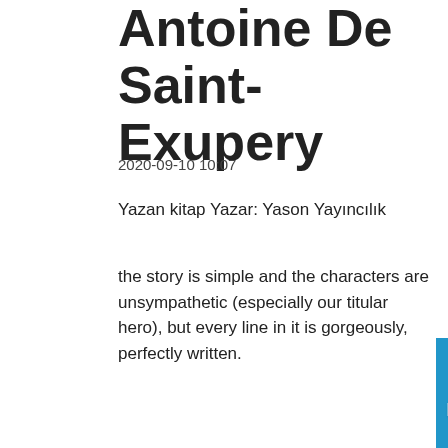Antoine De Saint-Exupery
2020-09-10 10:07
Yazan kitap Yazar: Yason Yayıncılık
the story is simple and the characters are unsympathetic (especially our titular hero), but every line in it is gorgeously, perfectly written.
[Figure (photo): Book cover with blue background showing title 'BENİM BABAM BİR KAHRAMAN' by Mustafa Yoğurtçu]